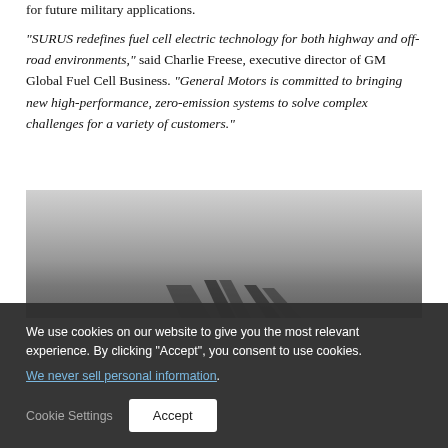for future military applications.
“SURUS redefines fuel cell electric technology for both highway and off-road environments,” said Charlie Freese, executive director of GM Global Fuel Cell Business. “General Motors is committed to bringing new high-performance, zero-emission systems to solve complex challenges for a variety of customers.”
[Figure (photo): A grayscale photograph showing the rear/top view of what appears to be a vehicle or platform on a road, with road markings visible at the bottom of the frame. The image has a gradient from light gray at the top to darker gray at the bottom.]
We use cookies on our website to give you the most relevant experience. By clicking “Accept”, you consent to use cookies. We never sell personal information.